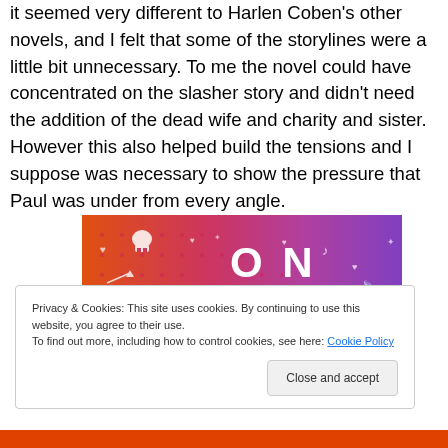it seemed very different to Harlen Coben's other novels, and I felt that some of the storylines were a little bit unnecessary. To me the novel could have concentrated on the slasher story and didn't need the addition of the dead wife and charity and sister. However this also helped build the tensions and I suppose was necessary to show the pressure that Paul was under from every angle.
[Figure (photo): Tumblr promotional banner with colorful orange-to-purple gradient background, white doodle icons (skull, hearts, arrows, music notes, leaves), large letters 'ON' and bold white text 'tumblr']
Privacy & Cookies: This site uses cookies. By continuing to use this website, you agree to their use.
To find out more, including how to control cookies, see here: Cookie Policy